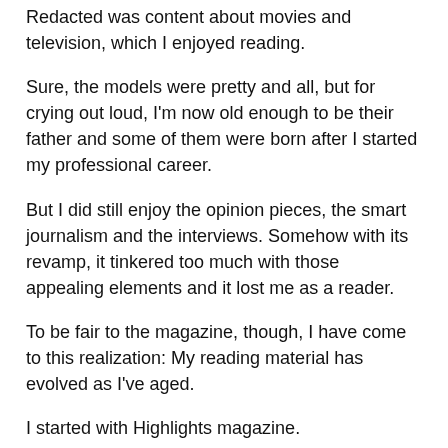Redacted was content about movies and television, which I enjoyed reading.
Sure, the models were pretty and all, but for crying out loud, I'm now old enough to be their father and some of them were born after I started my professional career.
But I did still enjoy the opinion pieces, the smart journalism and the interviews. Somehow with its revamp, it tinkered too much with those appealing elements and it lost me as a reader.
To be fair to the magazine, though, I have come to this realization: My reading material has evolved as I've aged.
I started with Highlights magazine.
Then I advanced to Boy's Life.
Then came Mad, Cracked and National Lampoon.